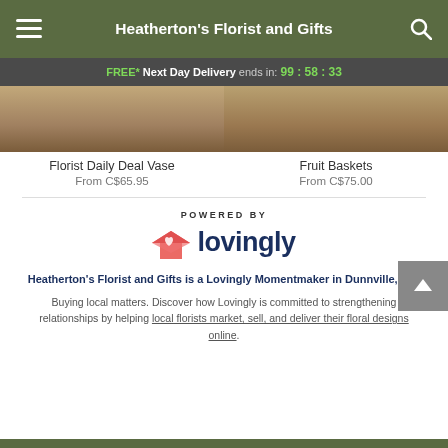Heatherton's Florist and Gifts
FREE* Next Day Delivery ends in: 99 : 58 : 33
[Figure (photo): Florist Daily Deal Vase product image thumbnail]
Florist Daily Deal Vase
From C$65.95
[Figure (photo): Fruit Baskets product image thumbnail]
Fruit Baskets
From C$75.00
POWERED BY
[Figure (logo): Lovingly logo with pink heart/envelope icon and dark blue text]
Heatherton's Florist and Gifts is a Lovingly Momentmaker in Dunnville, ON.
Buying local matters. Discover how Lovingly is committed to strengthening relationships by helping local florists market, sell, and deliver their floral designs online.